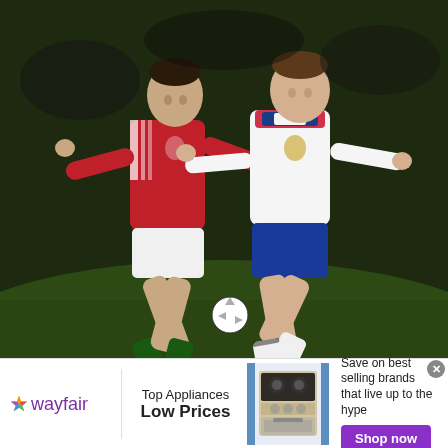[Figure (photo): Black and white/color sports photograph of two soccer players competing for the ball. Left player wears red jersey (Hungary national team with Adidas stripes) and green socks. Right player wears white England jersey with red/blue collar detailing, blue shorts, and white socks. Both players are in mid-action on a football pitch at night.]
[Figure (other): Wayfair advertisement banner. Logo on left with multi-color star and 'wayfair' in purple. Center text: 'Top Appliances / Low Prices'. Center image of a kitchen range/stove appliance. Right side text: 'Save on best selling brands that live up to the hype' with purple 'Shop now' button. Close (x) button in top right corner.]